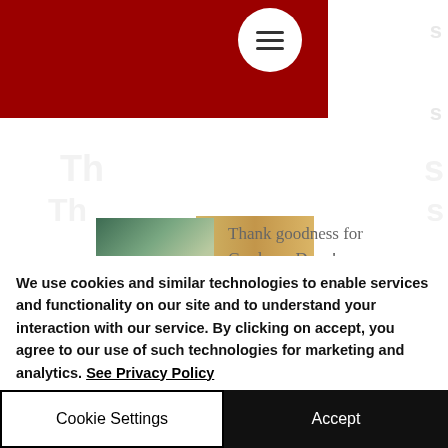[Figure (screenshot): Red website header banner with hamburger menu button (white circle with three horizontal lines) in the upper right of the banner area]
[Figure (screenshot): Partial article thumbnail image (golden/brown colored) visible at bottom of red banner]
[Figure (screenshot): Article card with green gradient thumbnail image and title text 'Thank goodness for Gardener Dave!']
Thank goodness for Gardener Dave!
We use cookies and similar technologies to enable services and functionality on our site and to understand your interaction with our service. By clicking on accept, you agree to our use of such technologies for marketing and analytics. See Privacy Policy
Cookie Settings
Accept